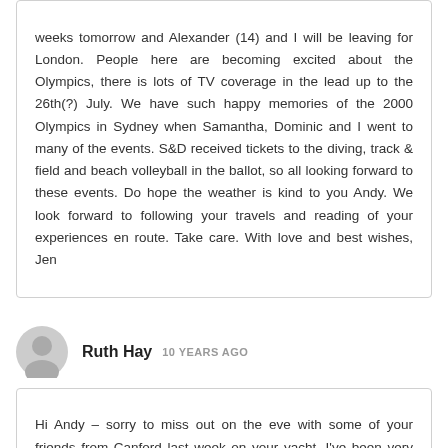weeks tomorrow and Alexander (14) and I will be leaving for London. People here are becoming excited about the Olympics, there is lots of TV coverage in the lead up to the 26th(?) July. We have such happy memories of the 2000 Olympics in Sydney when Samantha, Dominic and I went to many of the events. S&D received tickets to the diving, track & field and beach volleyball in the ballot, so all looking forward to these events. Do hope the weather is kind to you Andy. We look forward to following your travels and reading of your experiences en route. Take care. With love and best wishes, Jen
Ruth Hay  10 YEARS AGO
Hi Andy – sorry to miss out on the eve with some of your friends from Canford last week on your yacht. I've been very busy settling my mother down here having moved from Edinburgh...